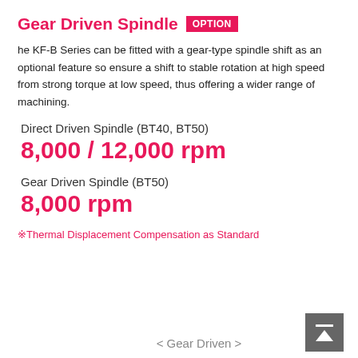Gear Driven Spindle OPTION
he KF-B Series can be fitted with a gear-type spindle shift as an optional feature so ensure a shift to stable rotation at high speed from strong torque at low speed, thus offering a wider range of machining.
Direct Driven Spindle (BT40, BT50)
8,000 / 12,000 rpm
Gear Driven Spindle (BT50)
8,000 rpm
※Thermal Displacement Compensation as Standard
< Gear Driven >